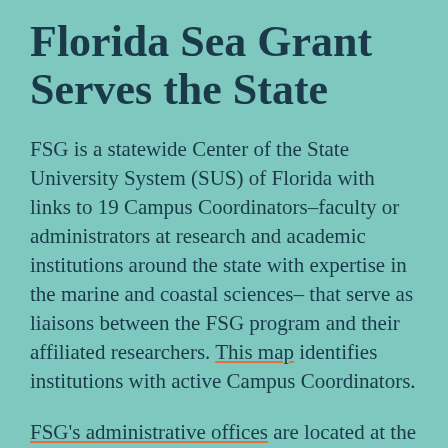Florida Sea Grant Serves the State
FSG is a statewide Center of the State University System (SUS) of Florida with links to 19 Campus Coordinators–faculty or administrators at research and academic institutions around the state with expertise in the marine and coastal sciences– that serve as liaisons between the FSG program and their affiliated researchers. This map identifies institutions with active Campus Coordinators.
FSG's administrative offices are located at the University of Florida (UF) – Florida's flagship university and Land Grant institution. As